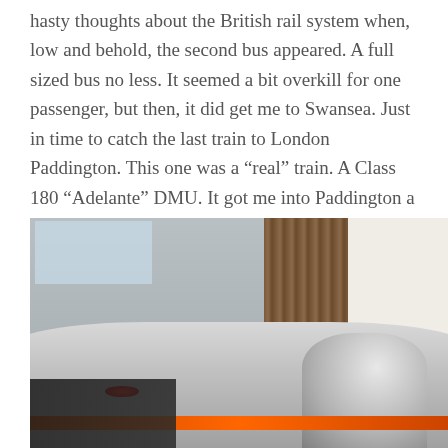hasty thoughts about the British rail system when, low and behold, the second bus appeared. A full sized bus no less. It seemed a bit overkill for one passenger, but then, it did get me to Swansea. Just in time to catch the last train to London Paddington. This one was a “real” train. A Class 180 “Adelante” DMU. It got me into Paddington a few minutes after midnight.
[Figure (photo): A photo of a modern train (Class 180 Adelante DMU) at a station platform, with buildings visible in the background. The train appears silver/grey with an orange stripe.]